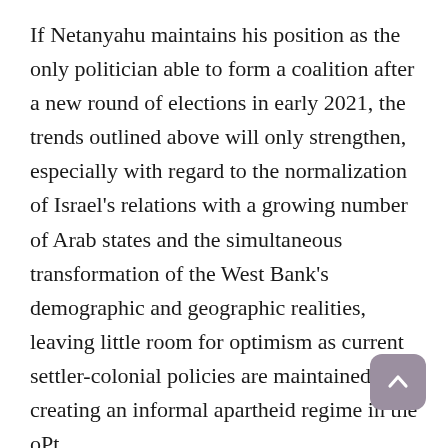If Netanyahu maintains his position as the only politician able to form a coalition after a new round of elections in early 2021, the trends outlined above will only strengthen, especially with regard to the normalization of Israel's relations with a growing number of Arab states and the simultaneous transformation of the West Bank's demographic and geographic realities, leaving little room for optimism as current settler-colonial policies are maintained, creating an informal apartheid regime in the oPt.
For real change on the Israeli-Palestinian front, a serious and creative Palestinian initiative is needed to repair the fractured Palestinian political arena and rally its actors around a
[Figure (other): A scroll-to-top button: rounded square with mauve/purple-grey background containing an upward-pointing chevron arrow in white.]